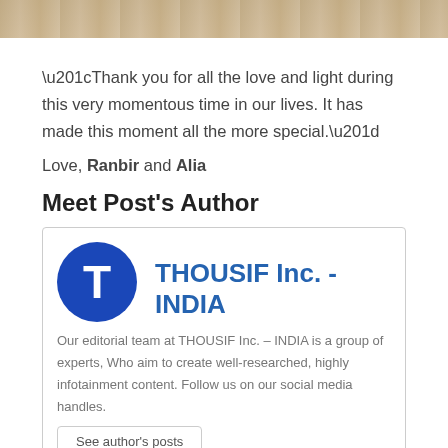[Figure (photo): Partial photo at top of page showing decorative floral/wedding scene]
“Thank you for all the love and light during this very momentous time in our lives. It has made this moment all the more special.”
Love, Ranbir and Alia
Meet Post's Author
THOUSIF Inc. - INDIA
Our editorial team at THOUSIF Inc. – INDIA is a group of experts, Who aim to create well-researched, highly infotainment content. Follow us on our social media handles.
See author's posts